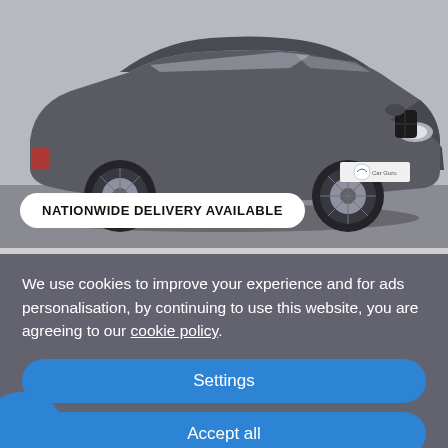[Figure (photo): Grey BMW 3 Series estate/touring car photographed in a showroom/dealer setting with white wall background. A dealer logo badge is visible on the number plate area. Badge overlay reads 'NATIONWIDE DELIVERY AVAILABLE' in a white pill/rounded rectangle.]
We use cookies to improve your experience and for ads personalisation, by continuing to use this website, you are agreeing to our cookie policy.
Settings
Accept all